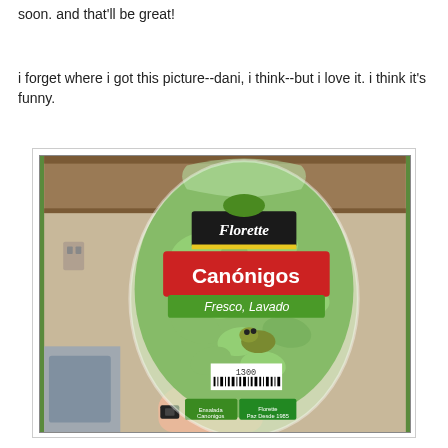soon. and that'll be great!
i forget where i got this picture--dani, i think--but i love it. i think it's funny.
[Figure (photo): A hand holding a clear plastic bag of green salad leaves (lamb's lettuce/mâche) labeled 'Florette Canónigos Fresco, Lavado' with a small frog visible inside the bag among the leaves. The bag shows a barcode and small print at bottom. Background shows a kitchen.]